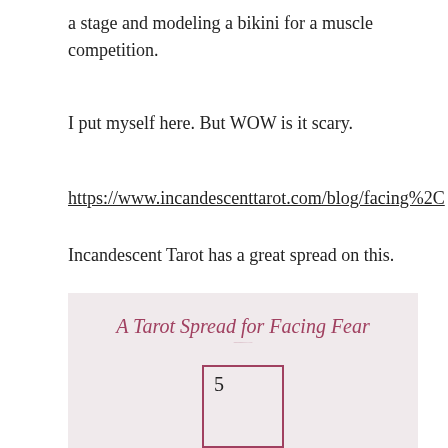a stage and modeling a bikini for a muscle competition.
I put myself here. But WOW is it scary.
https://www.incandescenttarot.com/blog/facing%2C
Incandescent Tarot has a great spread on this.
[Figure (infographic): A tarot spread card layout on a light pink/mauve background. Title reads 'A Tarot Spread for Facing Fear' in italicized mauve text with a decorative underline. Below is a card placeholder box with the number 5 inside.]